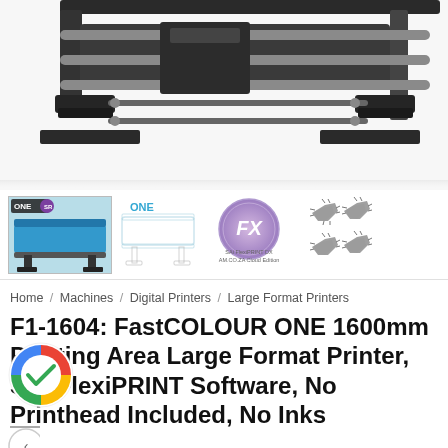[Figure (photo): Close-up photo of large format printer mechanism, dark grey/black metallic frame with roller bars, top portion of printer visible against white background]
[Figure (photo): Thumbnail row showing: (1) FastCOLOUR ONE printer in blue/black, branded with ONE logo; (2) ghost/outline view of ONE printer; (3) FX circular logo badge with text SAi FlexiPRINT DX AM.CO.ZA Cloud Edition; (4) four printhead chip icons]
Home / Machines / Digital Printers / Large Format Printers
F1-1604: FastCOLOUR ONE 1600mm Printing Area Large Format Printer, SAi FlexiPRINT Software, No Printhead Included, No Inks